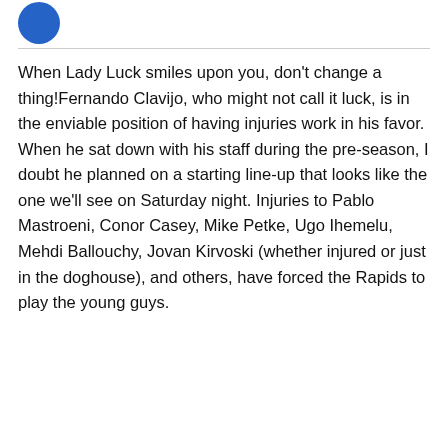[Figure (logo): Blue circular logo partially visible in top-left corner]
When Lady Luck smiles upon you, don't change a thing!Fernando Clavijo, who might not call it luck, is in the enviable position of having injuries work in his favor. When he sat down with his staff during the pre-season, I doubt he planned on a starting line-up that looks like the one we'll see on Saturday night. Injuries to Pablo Mastroeni, Conor Casey, Mike Petke, Ugo Ihemelu, Mehdi Ballouchy, Jovan Kirvoski (whether injured or just in the doghouse), and others, have forced the Rapids to play the young guys.